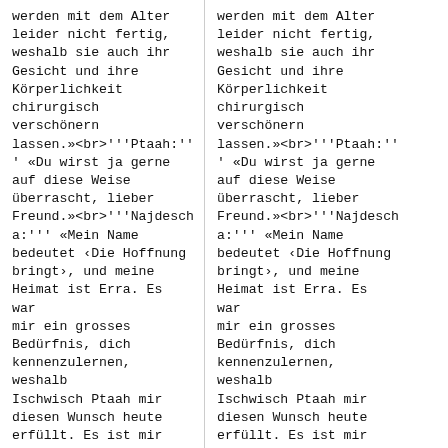werden mit dem Alter leider nicht fertig, weshalb sie auch ihr Gesicht und ihre Körperlichkeit chirurgisch verschönern lassen.»<br>'''Ptaah:''' «Du wirst ja gerne auf diese Weise überrascht, lieber Freund.»<br>'''Najdescha:''' «Mein Name bedeutet ‹Die Hoffnung bringt›, und meine Heimat ist Erra. Es war mir ein grosses Bedürfnis, dich kennenzulernen, weshalb Ischwisch Ptaah mir diesen Wunsch heute erfüllt. Es ist mir eine grosse Ehre, jetzt wirklich hier zu sein und dich von Angesicht zu Angesicht zu sehen.
werden mit dem Alter leider nicht fertig, weshalb sie auch ihr Gesicht und ihre Körperlichkeit chirurgisch verschönern lassen.»<br>'''Ptaah:''' «Du wirst ja gerne auf diese Weise überrascht, lieber Freund.»<br>'''Najdescha:''' «Mein Name bedeutet ‹Die Hoffnung bringt›, und meine Heimat ist Erra. Es war mir ein grosses Bedürfnis, dich kennenzulernen, weshalb Ischwisch Ptaah mir diesen Wunsch heute erfüllt. Es ist mir eine grosse Ehre, jetzt wirklich hier zu sein und dich von Angesicht zu Angesicht zu sehen.